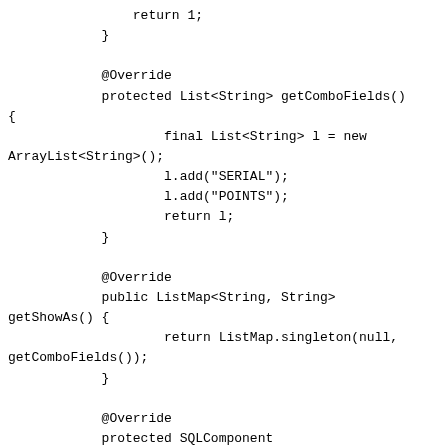return 1;
            }

            @Override
            protected List<String> getComboFields()
{
                    final List<String> l = new
ArrayList<String>();
                    l.add("SERIAL");
                    l.add("POINTS");
                    return l;
            }

            @Override
            public ListMap<String, String>
getShowAs() {
                    return ListMap.singleton(null,
getComboFields());
            }

            @Override
            protected SQLComponent
createComponent() {
                    return new UISQLComponent(this) {
                            @Override
                            protected void addViews() {
                                    this.addView("SERIAL");